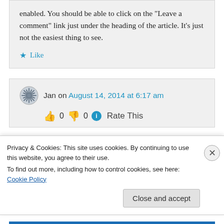enabled. You should be able to click on the “Leave a comment” link just under the heading of the article. It's just not the easiest thing to see.
★ Like
Jan on August 14, 2014 at 6:17 am
👍 0 👎 0 ℹ Rate This
Privacy & Cookies: This site uses cookies. By continuing to use this website, you agree to their use.
To find out more, including how to control cookies, see here: Cookie Policy
Close and accept